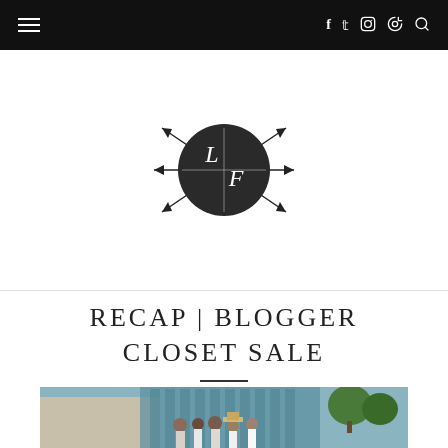Navigation bar with menu icon and social icons: f (Facebook), t (Twitter), Instagram, Pinterest, Search
[Figure (logo): Circular dark logo with letters L and F crossed by arrows, on white background]
RECAP | BLOGGER CLOSET SALE
[Figure (photo): Group photo of several women standing outdoors in front of a building with trees in the background]